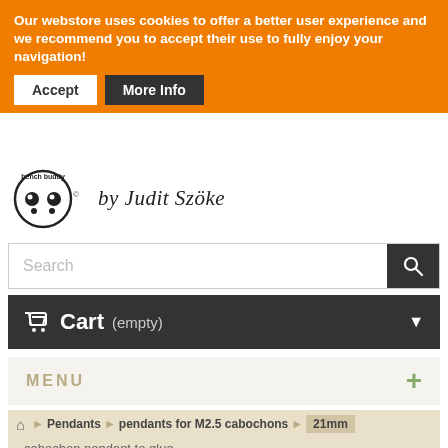Our webstore uses cookies to offer a better user experience and we recommend you to accept their use to fully enjoy your navigation!
Accept
More Info
[Figure (logo): Bench Buddy logo with circular face icon and text 'by Judit Szöke']
Search
Cart (empty)
MENU
Pendants > pendants for M2.5 cabochons > 21mm
cabochon pendant to glue
[Figure (photo): Product image showing bench buddy logo on white background with dark border]